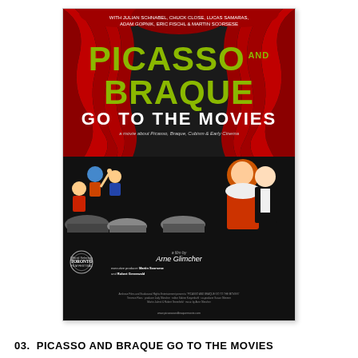[Figure (illustration): Movie poster for 'Picasso and Braque Go to the Movies'. Features red theater curtains at top, large green/yellow title text 'PICASSO AND BRAQUE GO TO THE MOVIES', illustrated audience figures watching a film, director credit 'Arne Glimcher', produced by Martin Scorsese and Robert Greenwald, Toronto Film Festival laurel seal at lower left. Text at top reads: 'With Julian Schnabel, Chuck Close, Lucas Samaras, Adam Gopnik, Eric Fischl & Martin Scorsese'.]
03.  PICASSO AND BRAQUE GO TO THE MOVIES